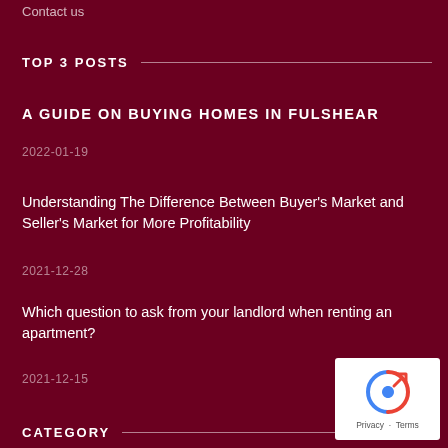Contact us
TOP 3 POSTS
A GUIDE ON BUYING HOMES IN FULSHEAR
2022-01-19
Understanding The Difference Between Buyer's Market and Seller's Market for More Profitability
2021-12-28
Which question to ask from your landlord when renting an apartment?
2021-12-15
CATEGORY
[Figure (other): reCAPTCHA widget with Privacy and Terms links]